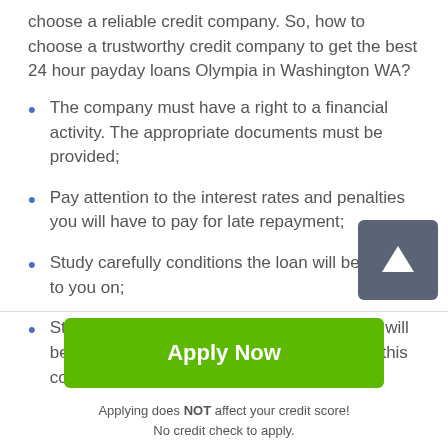choose a reliable credit company. So, how to choose a trustworthy credit company to get the best 24 hour payday loans Olympia in Washington WA?
The company must have a right to a financial activity. The appropriate documents must be provided;
Pay attention to the interest rates and penalties you will have to pay for late repayment;
Study carefully conditions the loan will be issued to you on;
Study other clients' reviews. In this way, you will be to understand whether to cooperate with this company
[Figure (other): Scroll-to-top button with upward arrow icon, dark gray background]
Apply Now
Applying does NOT affect your credit score!
No credit check to apply.